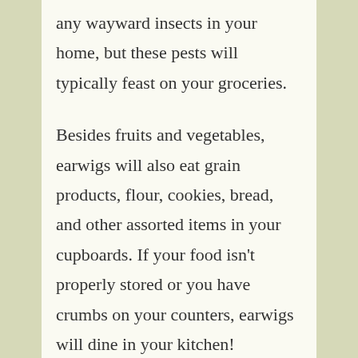any wayward insects in your home, but these pests will typically feast on your groceries.
Besides fruits and vegetables, earwigs will also eat grain products, flour, cookies, bread, and other assorted items in your cupboards. If your food isn't properly stored or you have crumbs on your counters, earwigs will dine in your kitchen!